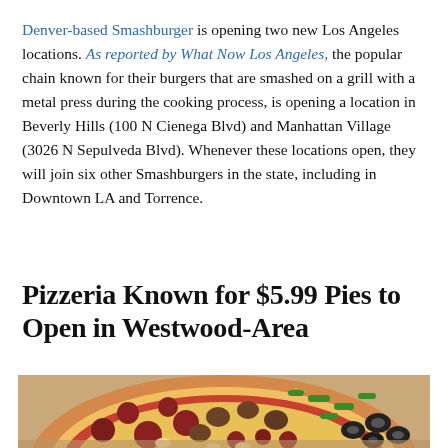Denver-based Smashburger is opening two new Los Angeles locations. As reported by What Now Los Angeles, the popular chain known for their burgers that are smashed on a grill with a metal press during the cooking process, is opening a location in Beverly Hills (100 N Cienega Blvd) and Manhattan Village (3026 N Sepulveda Blvd). Whenever these locations open, they will join six other Smashburgers in the state, including in Downtown LA and Torrence.
Pizzeria Known for $5.99 Pies to Open in Westwood-Area
[Figure (photo): Close-up photo of a large pizza topped with various toppings including pepperoni, mushrooms, green peppers, black olives, and cheese, shown in a cardboard box.]